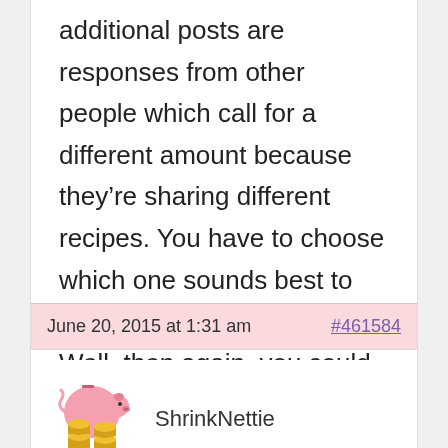additional posts are responses from other people which call for a different amount because they’re sharing different recipes. You have to choose which one sounds best to you, not mix and match. Well, then again, you could do that as well.
June 20, 2015 at 1:31 am
#461584
ShrinkNettie